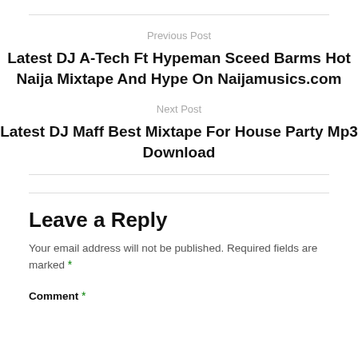Previous Post
Latest DJ A-Tech Ft Hypeman Sceed Barms Hot Naija Mixtape And Hype On Naijamusics.com
Next Post
Latest DJ Maff Best Mixtape For House Party Mp3 Download
Leave a Reply
Your email address will not be published. Required fields are marked *
Comment *